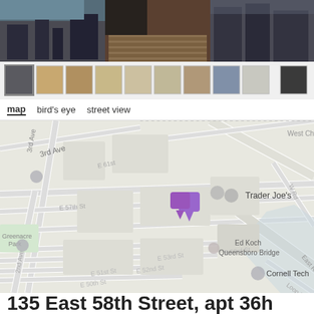[Figure (photo): Aerial/rooftop photo of a city building with water views, shown as a wide banner strip at the top]
[Figure (photo): Row of small thumbnail photos showing interior rooms, exterior views, floorplan, and building exterior]
map  bird's eye  street view
[Figure (map): Google Maps view showing Midtown Manhattan area around E 57th/58th Street area, near Trader Joe's, with a purple location pin marker. Labels visible: 3rd Ave, E 61st, E 63rd St, West Ch, E 57th St, Trader Joe's, Greenacre Park, 2nd Ave, E 51st St, E 50th St, E 52nd St, E 53rd St, E 53rd St, W Rd, Ed Koch Queensboro Bridge, East River, Cornell Tech, Loop Rd]
135 East 58th Street, apt 36h